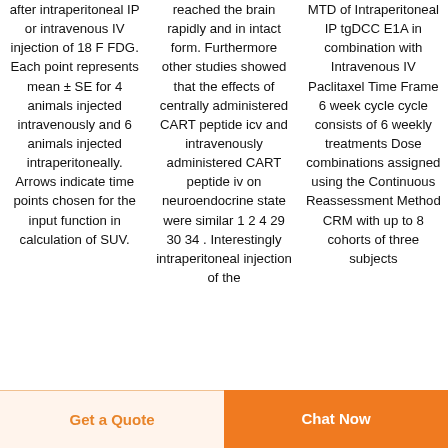after intraperitoneal IP or intravenous IV injection of 18 F FDG. Each point represents mean ± SE for 4 animals injected intravenously and 6 animals injected intraperitoneally. Arrows indicate time points chosen for the input function in calculation of SUV.
reached the brain rapidly and in intact form. Furthermore other studies showed that the effects of centrally administered CART peptide icv and intravenously administered CART peptide iv on neuroendocrine state were similar 1 2 4 29 30 34 . Interestingly intraperitoneal injection of the
MTD of Intraperitoneal IP tgDCC E1A in combination with Intravenous IV Paclitaxel Time Frame 6 week cycle cycle consists of 6 weekly treatments Dose combinations assigned using the Continuous Reassessment Method CRM with up to 8 cohorts of three subjects
Get a Quote
Chat Now